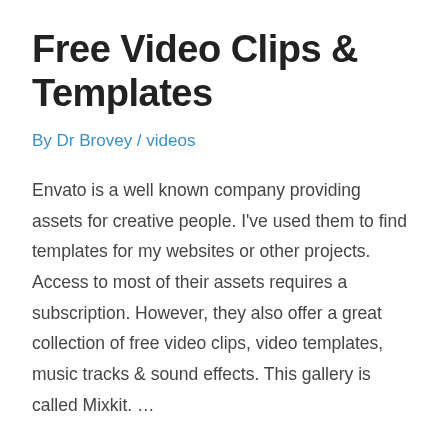Free Video Clips & Templates
By Dr Brovey / videos
Envato is a well known company providing assets for creative people. I've used them to find templates for my websites or other projects. Access to most of their assets requires a subscription. However, they also offer a great collection of free video clips, video templates, music tracks & sound effects. This gallery is called Mixkit. …
Read More »